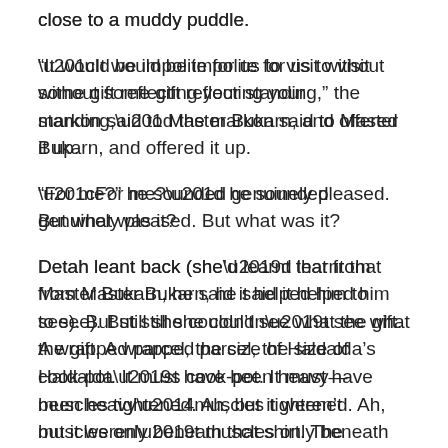close to a muddy puddle.
“It would be impolite for us to visit without some gift reflecting your standing,” the markon said to Master Bukarn, and offered it up.
“For me?” he sounded genuinely pleased. But what was it?
Detah leant back (she’d learnt that from Master Bukarn, he said it helped him to see). But still she couldn’t see what the gift. A wrapped parcel, the size of Haldalda’s cook-pot. It must have been heavy—muscles tightened. Ah, but it weren’t muscles only beneath that shirt. The markon, Detah now could see, was a woman. So that explained her more delicate build, and why she was shorter, and why when she’d spoken in impeccable Hiëmen her voice had been boyish as if unbroken.